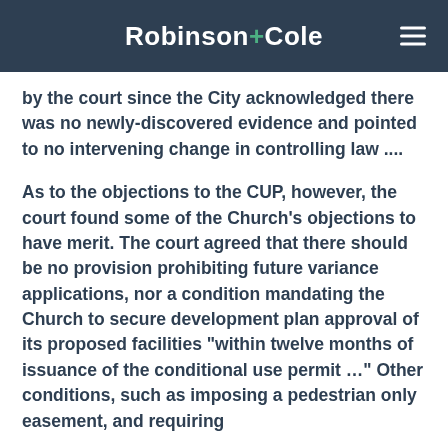Robinson+Cole
by the court since the City acknowledged there was no newly-discovered evidence and pointed to no intervening change in controlling law ....
As to the objections to the CUP, however, the court found some of the Church's objections to have merit. The court agreed that there should be no provision prohibiting future variance applications, nor a condition mandating the Church to secure development plan approval of its proposed facilities “within twelve months of issuance of the conditional use permit …” Other conditions, such as imposing a pedestrian only easement, and requiring